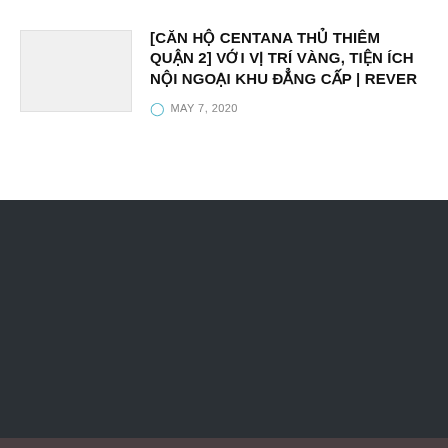[Figure (photo): Thumbnail image placeholder for article]
[CĂN HỘ CENTANA THỦ THIÊM QUẬN 2] VỚI VỊ TRÍ VÀNG, TIỆN ÍCH NỘI NGOẠI KHU ĐẲNG CẤP | REVER
MAY 7, 2020
[Figure (other): Dark background section]
© 2022 JNews - Premium WordPress news & magazine theme by Jegtheme.